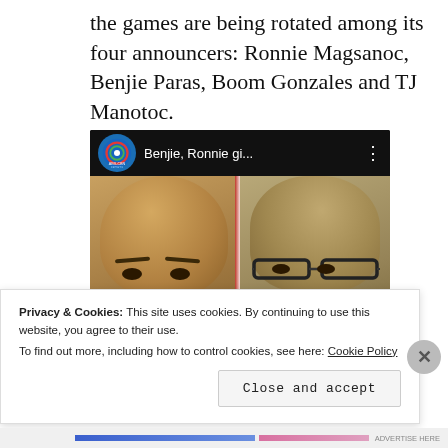the games are being rotated among its four announcers: Ronnie Magsanoc, Benjie Paras, Boom Gonzales and TJ Manotoc.
[Figure (screenshot): YouTube video thumbnail showing two men's faces side by side with ABS-CBN Sports channel logo and title 'Benjie, Ronnie gi...' in the top bar, and a red play button overlay.]
Privacy & Cookies: This site uses cookies. By continuing to use this website, you agree to their use.
To find out more, including how to control cookies, see here: Cookie Policy